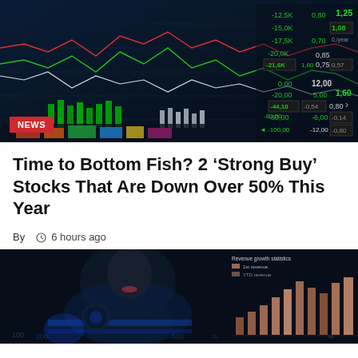[Figure (photo): Stock market trading screen showing multiple line charts in neon green and red colors with numerical values including -12.5K, -15.0K, -17.5K, -20.0K, -21.6K on the right side, along with other trading figures]
NEWS
Time to Bottom Fish? 2 ‘Strong Buy’ Stocks That Are Down Over 50% This Year
By  ⏰ 6 hours ago
[Figure (photo): Person in dark setting with financial data visualization showing bar charts and growth statistics on a digital display]